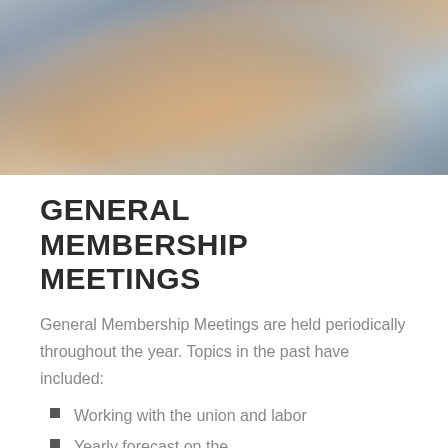[Figure (photo): Two businesspeople shaking hands, close-up photo]
GENERAL MEMBERSHIP MEETINGS
General Membership Meetings are held periodically throughout the year. Topics in the past have included:
Working with the union and labor
Yearly forecast on the construction industry